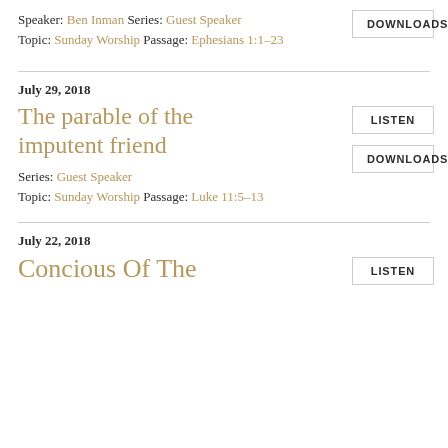Speaker: Ben Inman Series: Guest Speaker Topic: Sunday Worship Passage: Ephesians 1:1–23
DOWNLOADS
July 29, 2018
The parable of the imputent friend
LISTEN
DOWNLOADS
Series: Guest Speaker
Topic: Sunday Worship Passage: Luke 11:5–13
July 22, 2018
Concious Of The
LISTEN